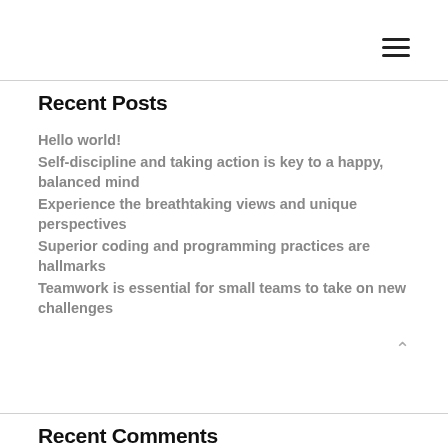[Figure (other): Hamburger menu icon with three horizontal lines]
Recent Posts
Hello world!
Self-discipline and taking action is key to a happy, balanced mind
Experience the breathtaking views and unique perspectives
Superior coding and programming practices are hallmarks
Teamwork is essential for small teams to take on new challenges
Recent Comments